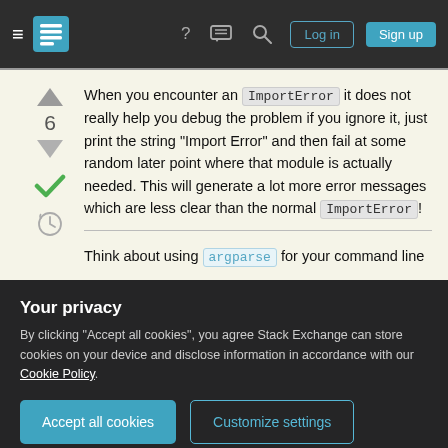Stack Exchange navigation bar with Log in and Sign up buttons
When you encounter an ImportError it does not really help you debug the problem if you ignore it, just print the string "Import Error" and then fail at some random later point where that module is actually needed. This will generate a lot more error messages which are less clear than the normal ImportError!
Think about using argparse for your command line
Your privacy
By clicking "Accept all cookies", you agree Stack Exchange can store cookies on your device and disclose information in accordance with our Cookie Policy.
Accept all cookies  Customize settings